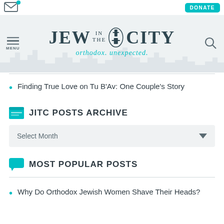Jew in the City — orthodox. unexpected. | DONATE
[Figure (logo): Jew in the City logo with tagline 'orthodox. unexpected.' on grey background with city skyline silhouette]
Finding True Love on Tu B'Av: One Couple's Story
JITC POSTS ARCHIVE
Select Month
MOST POPULAR POSTS
Why Do Orthodox Jewish Women Shave Their Heads?